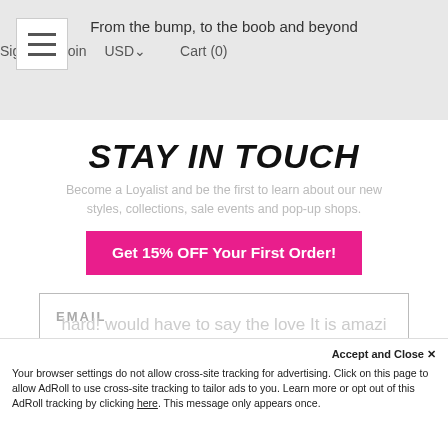From the bump, to the boob and beyond | Sign in  Join  USD  Cart (0)
STAY IN TOUCH
Become a Loyalist and be the first to learn about our new styles, collections, sale events and pop-up shops.
Get 15% OFF Your First Order!
EMAIL
JOIN US
hard! would have to say the love It is amazi
Accept and Close ×
Your browser settings do not allow cross-site tracking for advertising. Click on this page to allow AdRoll to use cross-site tracking to tailor ads to you. Learn more or opt out of this AdRoll tracking by clicking here. This message only appears once.